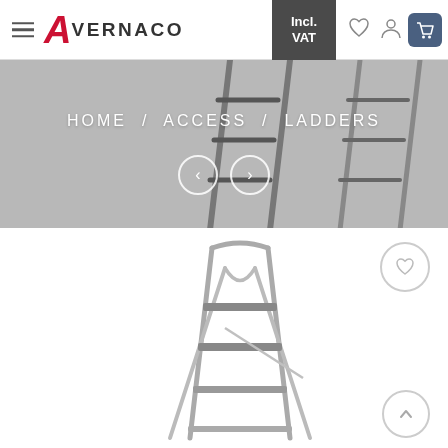Avernaco — Incl. VAT — HOME / ACCESS / LADDERS
[Figure (screenshot): Avernaco e-commerce website screenshot showing navigation header with hamburger menu, logo, Incl. VAT button, wishlist, account, and cart icons. Below is a banner showing ladders with HOME / ACCESS / LADDERS breadcrumb and carousel navigation arrows. Product section shows a silver aluminium step ladder on white background with a wishlist heart icon and a scroll-up arrow button.]